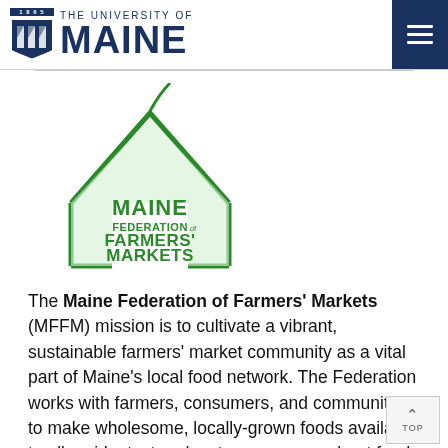THE UNIVERSITY OF MAINE
[Figure (logo): Maine Federation of Farmers' Markets logo: a green tent/market stall outline with a green leaf/flag on top, and the text 'MAINE FEDERATION of FARMERS' MARKETS' in green inside the stall outline.]
The Maine Federation of Farmers' Markets (MFFM) mission is to cultivate a vibrant, sustainable farmers' market community as a vital part of Maine's local food network. The Federation works with farmers, consumers, and communities to make wholesome, locally-grown foods available to all residents, to educate consumers about food resources, and to